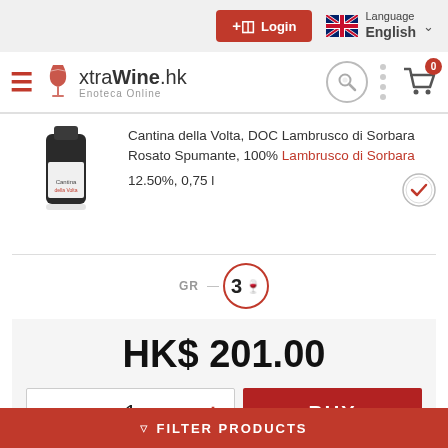Login | Language English
[Figure (logo): xtraWine.hk Enoteca Online logo with hamburger menu, search icon, and cart]
Cantina della Volta, DOC Lambrusco di Sorbara Rosato Spumante, 100% Lambrusco di Sorbara
12.50%, 0,75 l
GR 3
HK$ 201.00
1
BUY
COMPARE
FILTER PRODUCTS